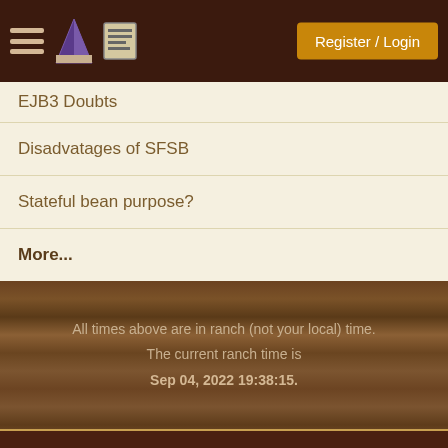Register / Login
EJB3 Doubts
Disadvatages of SFSB
Stateful bean purpose?
More...
All times above are in ranch (not your local) time.
The current ranch time is
Sep 04, 2022 19:38:15.
Contact Us | advertise | Desktop view
Copyright © 1998-2022 paul wheaton , m…